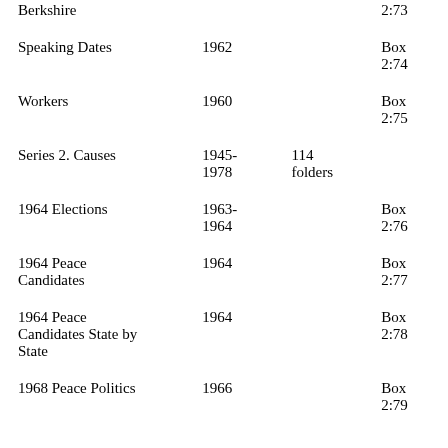| Title | Date | Extent | Location |
| --- | --- | --- | --- |
| Berkshire |  |  | 2:73 |
| Speaking Dates | 1962 |  | Box 2:74 |
| Workers | 1960 |  | Box 2:75 |
| Series 2. Causes | 1945-1978 | 114 folders |  |
| 1964 Elections | 1963-1964 |  | Box 2:76 |
| 1964 Peace Candidates | 1964 |  | Box 2:77 |
| 1964 Peace Candidates State by State | 1964 |  | Box 2:78 |
| 1968 Peace Politics | 1966 |  | Box 2:79 |